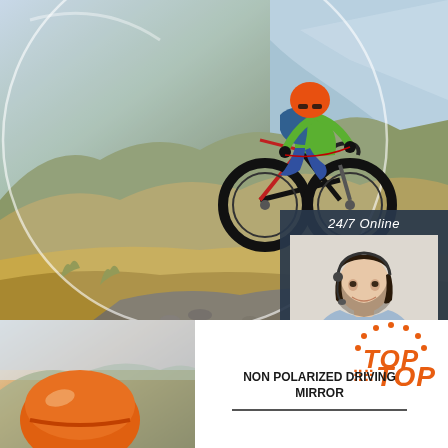[Figure (photo): Mountain biker riding aggressively on rocky mountain trail, wearing orange helmet and green jersey, with mountain landscape background and a large circular lens/glass overlay in the upper portion]
24/7 Online
[Figure (photo): Female customer service agent wearing headset and smiling, in a dark blue panel on the right side]
Click here for free chat !
QUOTATION
[Figure (photo): Person holding a cycling helmet or glasses close-up, bottom left]
TOP
NON POLARIZED DRIVING MIRROR